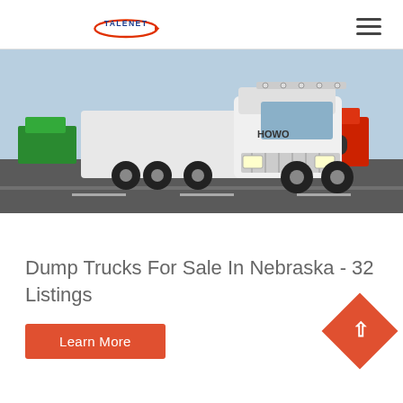TALENET
[Figure (photo): A large white HOWO semi-truck/tractor unit parked in a truck yard with other trucks visible in the background under a clear blue sky.]
Dump Trucks For Sale In Nebraska - 32 Listings
Learn More